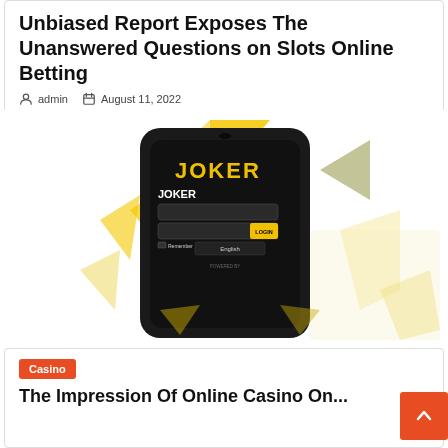Unbiased Report Exposes The Unanswered Questions on Slots Online Betting
admin   August 11, 2022
[Figure (screenshot): A smartphone displaying the JOKER online casino login screen, with yellow decorative shapes on a white background]
Casino
The Impression Of Online Casino On...